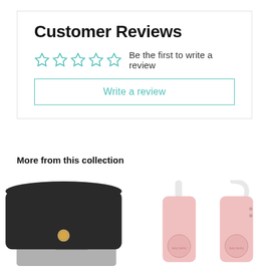Customer Reviews
Be the first to write a review
Write a review
More from this collection
[Figure (photo): Black diaper bag with grey straps and wooden button snap closure]
[Figure (photo): Two pink baby bottle warmers by Baby Lamby brand, one with lanyard strap and one with USB cable]